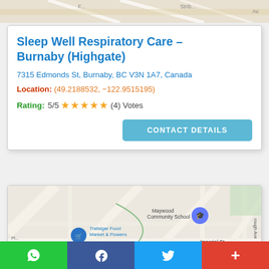[Figure (map): Partial street map shown at the top of the page]
Sleep Well Respiratory Care – Burnaby (Highgate)
7315 Edmonds St, Burnaby, BC V3N 1A7, Canada
Location: (49.2188532, −122.9515195)
Rating: 5/5 ★★★★★ (4) Votes
CONTACT DETAILS
[Figure (map): Google Maps view showing Maywood Community School, Trafalgar Food Market & Flowers, La Forêt, Imperial St, Royal C, and street labels including Dow, Frede, Gray, Nel]
WhatsApp | Facebook | Twitter | +